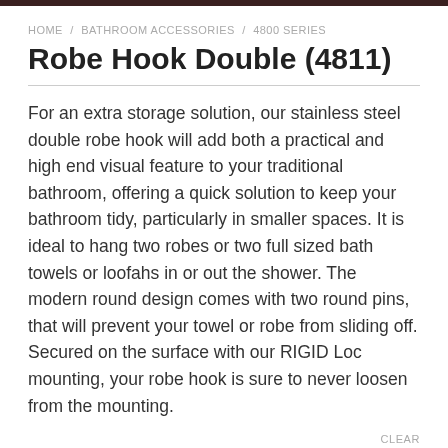HOME / BATHROOM ACCESSORIES / 4800 SERIES
Robe Hook Double (4811)
For an extra storage solution, our stainless steel double robe hook will add both a practical and high end visual feature to your traditional bathroom, offering a quick solution to keep your bathroom tidy, particularly in smaller spaces. It is ideal to hang two robes or two full sized bath towels or loofahs in or out the shower. The modern round design comes with two round pins, that will prevent your towel or robe from sliding off. Secured on the surface with our RIGID Loc mounting, your robe hook is sure to never loosen from the mounting.
CLEAR
Field...